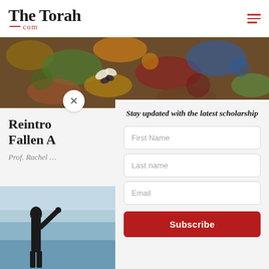The Torah .com
[Figure (photo): Colorful painted artwork showing foliage and figures, used as article banner image]
Reintro[ducing the] Fallen A[ngels]
Prof. Rachel …
Stay updated with the latest scholarship
[Figure (photo): Photo of a person with arm raised against a light blue sky, partially visible on left side]